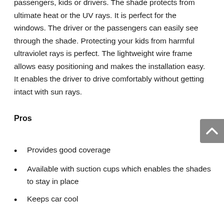passengers, kids or drivers. The shade protects from ultimate heat or the UV rays. It is perfect for the windows. The driver or the passengers can easily see through the shade. Protecting your kids from harmful ultraviolet rays is perfect. The lightweight wire frame allows easy positioning and makes the installation easy. It enables the driver to drive comfortably without getting intact with sun rays.
Pros
Provides good coverage
Available with suction cups which enables the shades to stay in place
Keeps car cool